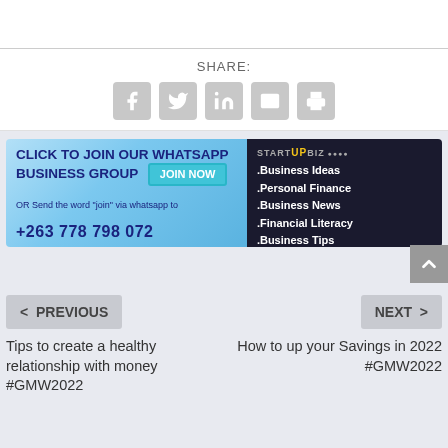SHARE:
[Figure (infographic): Social share icons: Facebook, Twitter, LinkedIn, Email, Print - grey rounded square buttons]
[Figure (infographic): WhatsApp business group ad banner. Left side blue: CLICK TO JOIN OUR WHATSAPP BUSINESS GROUP [Join Now button] OR Send the word "join" via whatsapp to +263 778 798 072. Right side dark: STARTUPBIZ logo, .Business Ideas .Personal Finance .Business News .Financial Literacy .Business Tips]
< PREVIOUS
NEXT >
Tips to create a healthy relationship with money #GMW2022
How to up your Savings in 2022 #GMW2022